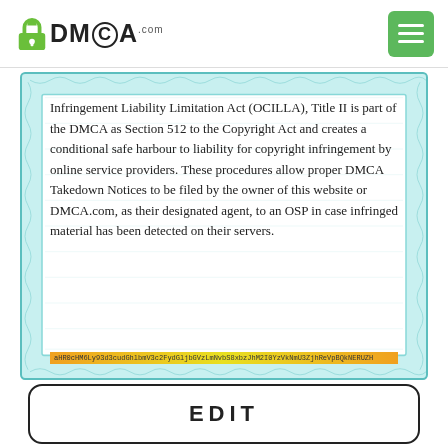DMCA.com
Infringement Liability Limitation Act (OCILLA), Title II is part of the DMCA as Section 512 to the Copyright Act and creates a conditional safe harbour to liability for copyright infringement by online service providers. These procedures allow proper DMCA Takedown Notices to be filed by the owner of this website or DMCA.com, as their designated agent, to an OSP in case infringed material has been detected on their servers.
EDIT